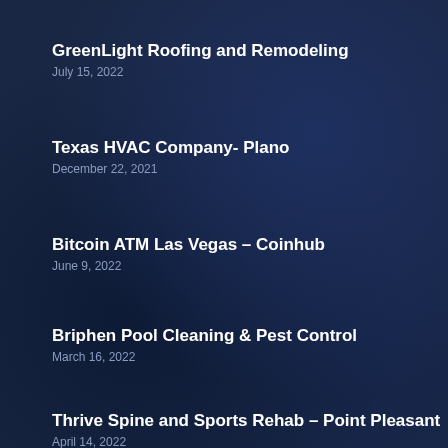GreenLight Roofing and Remodeling
July 15, 2022
Texas HVAC Company- Plano
December 22, 2021
Bitcoin ATM Las Vegas – Coinhub
June 9, 2022
Briphen Pool Cleaning & Pest Control
March 16, 2022
Thrive Spine and Sports Rehab – Point Pleasant
April 14, 2022